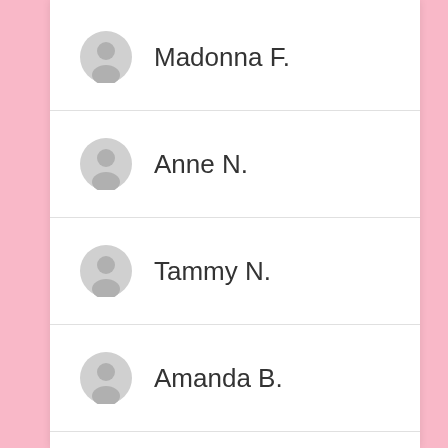Madonna F.
Anne N.
Tammy N.
Amanda B.
James R.